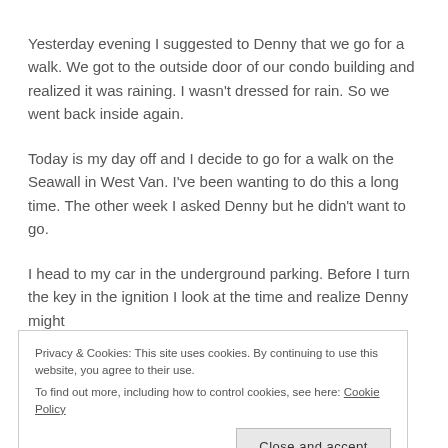Yesterday evening I suggested to Denny that we go for a walk. We got to the outside door of our condo building and realized it was raining. I wasn't dressed for rain. So we went back inside again.
Today is my day off and I decide to go for a walk on the Seawall in West Van. I've been wanting to do this a long time. The other week I asked Denny but he didn't want to go.
I head to my car in the underground parking. Before I turn the key in the ignition I look at the time and realize Denny might
Privacy & Cookies: This site uses cookies. By continuing to use this website, you agree to their use.
To find out more, including how to control cookies, see here: Cookie Policy
side door, and bends over and looks inside at me.